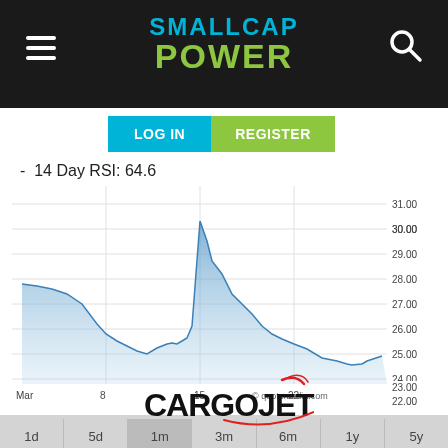SMALLCAP POWER
LOG IN   REGISTER
- 14 Day RSI: 64.6
[Figure (area-chart): Area chart showing stock price from Mar to ~Mar 22, starting ~28, dipping to ~24, peaking near 30 around Mar 15, then declining to ~23]
© quotemedia.com
1d  5d  1m  3m  6m  1y  5y
[Figure (logo): Cargojet logo — company name in black with a red swoosh/wing accent]